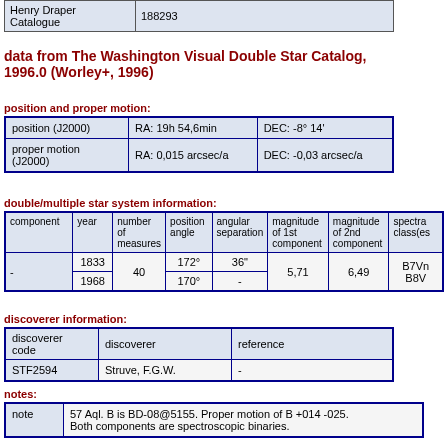| Henry Draper Catalogue |  |
| --- | --- |
| Henry Draper Catalogue | 188293 |
data from The Washington Visual Double Star Catalog, 1996.0 (Worley+, 1996)
position and proper motion:
| position (J2000) | RA: 19h 54,6min | DEC: -8° 14' |
| --- | --- | --- |
| proper motion (J2000) | RA: 0,015 arcsec/a | DEC: -0,03 arcsec/a |
double/multiple star system information:
| component | year | number of measures | position angle | angular separation | magnitude of 1st component | magnitude of 2nd component | spectral class(es) |
| --- | --- | --- | --- | --- | --- | --- | --- |
| - | 1833 | 40 | 172° | 36" | 5,71 | 6,49 | B7Vn B8V |
| - | 1968 | 40 | 170° | - | 5,71 | 6,49 | B7Vn B8V |
discoverer information:
| discoverer code | discoverer | reference |
| --- | --- | --- |
| STF2594 | Struve, F.G.W. | - |
notes:
| note |  |
| --- | --- |
| note | 57 Aql. B is BD-08@5155. Proper motion of B +014 -025. Both components are spectroscopic binaries. |